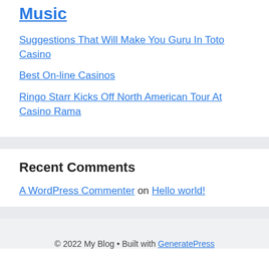Music
Suggestions That Will Make You Guru In Toto Casino
Best On-line Casinos
Ringo Starr Kicks Off North American Tour At Casino Rama
Recent Comments
A WordPress Commenter on Hello world!
© 2022 My Blog • Built with GeneratePress